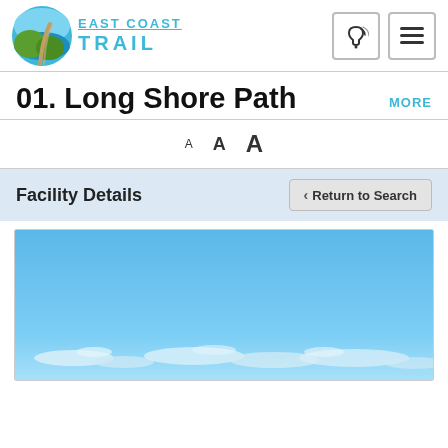[Figure (logo): East Coast Trail logo with circular icon showing a path, water, and greenery, with text 'EAST COAST TRAIL' in teal]
01. Long Shore Path
MORE
A  A  A
Facility Details
◀ Return to Search
[Figure (photo): Outdoor photo showing a blue sky with white clouds near the horizon]